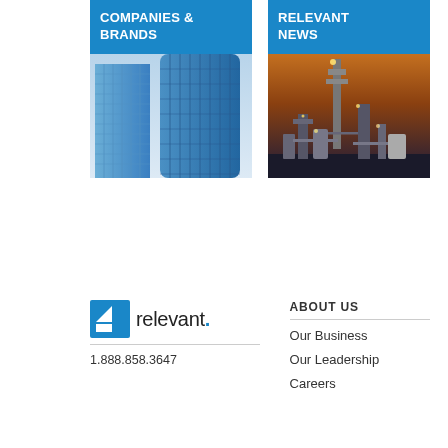COMPANIES & BRANDS
[Figure (photo): Looking upward at modern glass skyscrapers with blue tones]
RELEVANT NEWS
[Figure (photo): Industrial oil refinery or chemical plant lit up at night with orange sky]
[Figure (logo): Relevant company logo with blue geometric icon and text 'relevant.' with blue period]
1.888.858.3647
ABOUT US
Our Business
Our Leadership
Careers